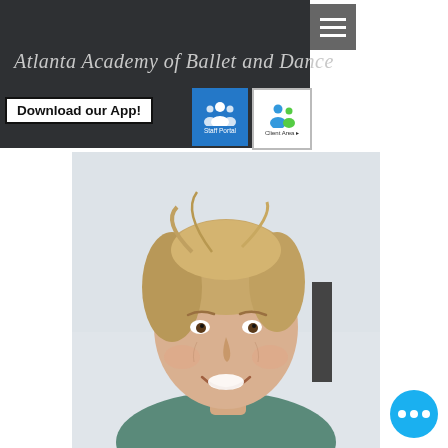Atlanta Academy of Ballet and Dance
Download our App!
[Figure (screenshot): Staff Portal button with white group/people icon on blue background]
[Figure (screenshot): Client Area button with colorful people icon on white background]
[Figure (photo): Portrait photo of a smiling blonde woman in a dance studio setting, wearing a teal top]
[Figure (other): Blue circular chat/more-options button with three white dots]